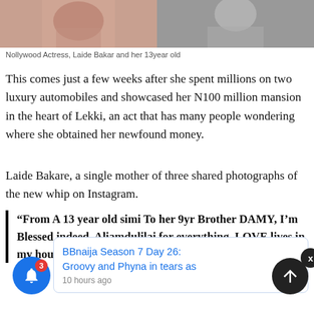[Figure (photo): Two side-by-side cropped photos — left shows a woman (Laide Bakare) in warm tones, right shows a black-and-white portrait]
Nollywood Actress, Laide Bakar and her 13year old
This comes just a few weeks after she spent millions on two luxury automobiles and showcased her N100 million mansion in the heart of Lekki, an act that has many people wondering where she obtained her newfound money.
Laide Bakare, a single mother of three shared photographs of the new whip on Instagram.
“From A 13 year old simi To her 9yr Brother DAMY, I’m Blessed indeed, Aliamdulilai for everything, LOVE lives in my house, i dont hunt for it anym… illionaire, … verything